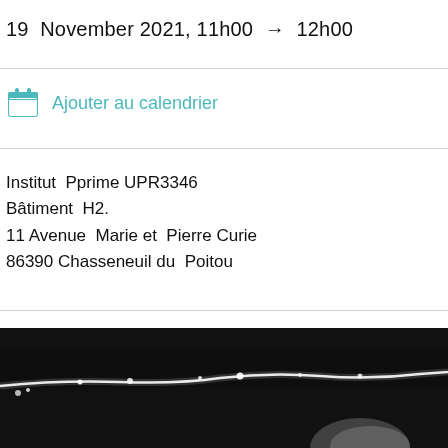19  November 2021, 11h00  →  12h00
Ajouter au calendrier
Institut  Pprime UPR3346
Bâtiment  H2.
11 Avenue  Marie et  Pierre Curie
86390 Chasseneuil du  Poitou
[Figure (photo): Dark background scientific image showing a bright fluid or plasma stream/jet in a dark field, partially cropped]